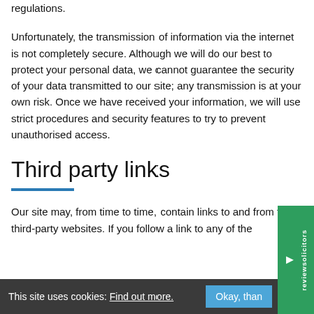regulations.
Unfortunately, the transmission of information via the internet is not completely secure. Although we will do our best to protect your personal data, we cannot guarantee the security of your data transmitted to our site; any transmission is at your own risk. Once we have received your information, we will use strict procedures and security features to try to prevent unauthorised access.
Third party links
Our site may, from time to time, contain links to and from the third-party websites. If you follow a link to any of the
This site uses cookies: Find out more.   Okay, than